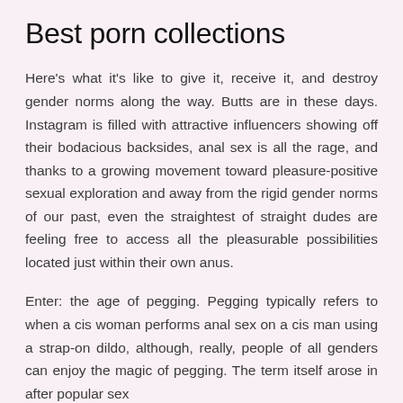Best porn collections
Here's what it's like to give it, receive it, and destroy gender norms along the way. Butts are in these days. Instagram is filled with attractive influencers showing off their bodacious backsides, anal sex is all the rage, and thanks to a growing movement toward pleasure-positive sexual exploration and away from the rigid gender norms of our past, even the straightest of straight dudes are feeling free to access all the pleasurable possibilities located just within their own anus.
Enter: the age of pegging. Pegging typically refers to when a cis woman performs anal sex on a cis man using a strap-on dildo, although, really, people of all genders can enjoy the magic of pegging. The term itself arose in after popular sex